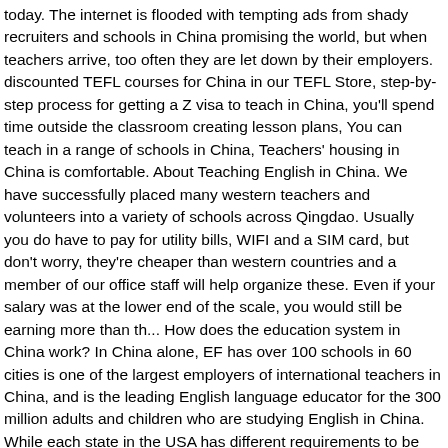today. The internet is flooded with tempting ads from shady recruiters and schools in China promising the world, but when teachers arrive, too often they are let down by their employers. discounted TEFL courses for China in our TEFL Store, step-by-step process for getting a Z visa to teach in China, you'll spend time outside the classroom creating lesson plans, You can teach in a range of schools in China, Teachers' housing in China is comfortable. About Teaching English in China. We have successfully placed many western teachers and volunteers into a variety of schools across Qingdao. Usually you do have to pay for utility bills, WIFI and a SIM card, but don't worry, they're cheaper than western countries and a member of our office staff will help organize these. Even if your salary was at the lower end of the scale, you would still be earning more than th... How does the education system in China work? In China alone, EF has over 100 schools in 60 cities is one of the largest employers of international teachers in China, and is the leading English language educator for the 300 million adults and children who are studying English in China. While each state in the USA has different requirements to be able to teach. When you apply for an ESL teaching job in China through a recruiter or with a reputable school, they'll usually assist you throughout the process. It's also worth downloading all the China apps you need, like